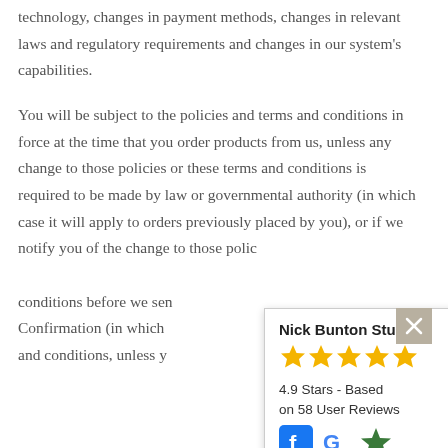technology, changes in payment methods, changes in relevant laws and regulatory requirements and changes in our system's capabilities.
You will be subject to the policies and terms and conditions in force at the time that you order products from us, unless any change to those policies or these terms and conditions is required to be made by law or governmental authority (in which case it will apply to orders previously placed by you), or if we notify you of the change to those policies or these terms and conditions before we send [text continues] Confirmation (in which [text continues] assume that you have accepted [text continues] terms and conditions, unless you [text continues] ry
[Figure (infographic): Nick Bunton Studios review popup showing 5 gold stars, 4.9 Stars rating based on 58 User Reviews, with Facebook, Google, and a gold star icon]